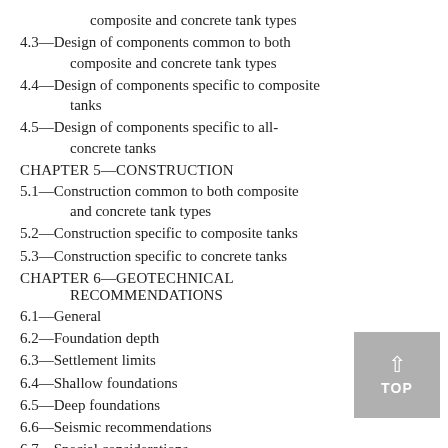composite and concrete tank types
4.3—Design of components common to both composite and concrete tank types
4.4—Design of components specific to composite tanks
4.5—Design of components specific to all-concrete tanks
CHAPTER 5—CONSTRUCTION
5.1—Construction common to both composite and concrete tank types
5.2—Construction specific to composite tanks
5.3—Construction specific to concrete tanks
CHAPTER 6—GEOTECHNICAL RECOMMENDATIONS
6.1—General
6.2—Foundation depth
6.3—Settlement limits
6.4—Shallow foundations
6.5—Deep foundations
6.6—Seismic recommendations
6.7—Special considerations
CHAPTER 7—APPURTENANCES AND ACCESSORIES
7.1—General